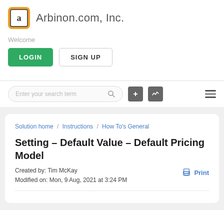Arbinon.com, Inc.
Welcome
LOGIN   SIGN UP
[Figure (screenshot): Search bar with 'Enter your search term' placeholder, plus icon, waveform icon, and hamburger menu icon]
Solution home / Instructions / How To's General
Setting – Default Value – Default Pricing Model
Created by: Tim McKay
Modified on: Mon, 9 Aug, 2021 at 3:24 PM